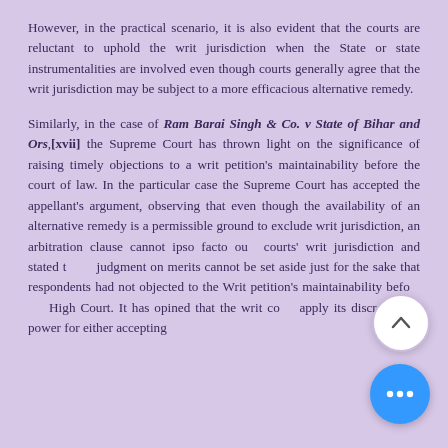However, in the practical scenario, it is also evident that the courts are reluctant to uphold the writ jurisdiction when the State or state instrumentalities are involved even though courts generally agree that the writ jurisdiction may be subject to a more efficacious alternative remedy.
Similarly, in the case of Ram Barai Singh & Co. v State of Bihar and Ors,[xvii] the Supreme Court has thrown light on the significance of raising timely objections to a writ petition's maintainability before the court of law. In the particular case the Supreme Court has accepted the appellant's argument, observing that even though the availability of an alternative remedy is a permissible ground to exclude writ jurisdiction, an arbitration clause cannot ipso facto oust courts' writ jurisdiction and stated that a judgment on merits cannot be set aside just for the sake that respondents had not objected to the Writ petition's maintainability before the High Court. It has opined that the writ court apply its discretionary power for either accepting